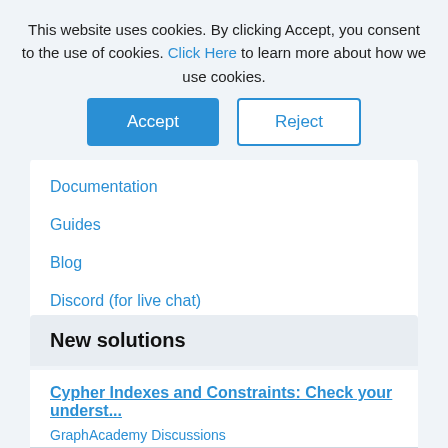This website uses cookies. By clicking Accept, you consent to the use of cookies. Click Here to learn more about how we use cookies.
Documentation
Guides
Blog
Discord (for live chat)
New solutions
Cypher Indexes and Constraints: Check your underst...
GraphAcademy Discussions